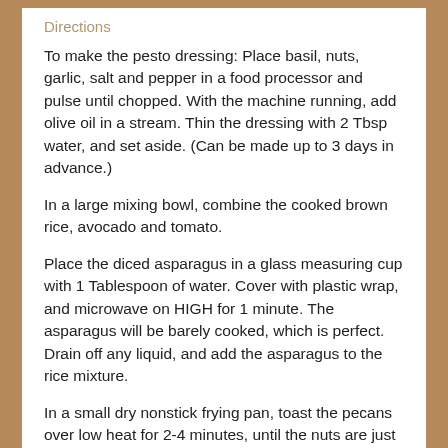Directions
To make the pesto dressing: Place basil, nuts, garlic, salt and pepper in a food processor and pulse until chopped. With the machine running, add olive oil in a stream. Thin the dressing with 2 Tbsp water, and set aside. (Can be made up to 3 days in advance.)
In a large mixing bowl, combine the cooked brown rice, avocado and tomato.
Place the diced asparagus in a glass measuring cup with 1 Tablespoon of water. Cover with plastic wrap, and microwave on HIGH for 1 minute. The asparagus will be barely cooked, which is perfect. Drain off any liquid, and add the asparagus to the rice mixture.
In a small dry nonstick frying pan, toast the pecans over low heat for 2-4 minutes, until the nuts are just